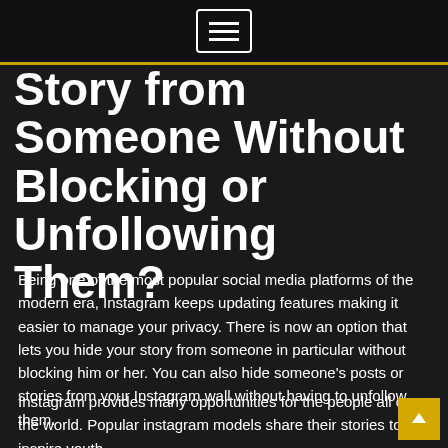☰
Story from Someone Without Blocking or Unfollowing Them?
Being one of the most popular social media platforms of the modern era, Instagram keeps updating features making it easier to manage your privacy. There is now an option that lets you hide your story from someone in particular without blocking him or her. You can also hide someone's posts or stories from your Instagram wall without having to unfollow them.
Instagram provides many opportunities for the people all over the world. Popular instagram models share their stories to inspire youth.